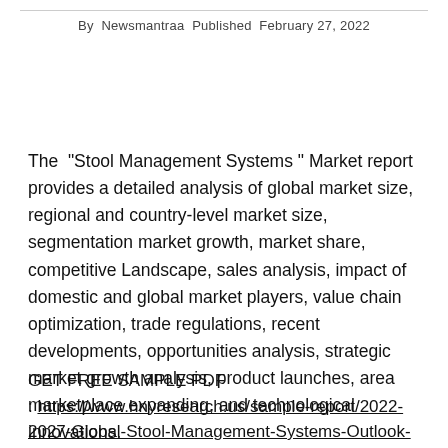By Newsmantraa Published February 27, 2022
The “Stool Management Systems ” Market report provides a detailed analysis of global market size, regional and country-level market size, segmentation market growth, market share, competitive Landscape, sales analysis, impact of domestic and global market players, value chain optimization, trade regulations, recent developments, opportunities analysis, strategic market growth analysis, product launches, area marketplace expanding, and technological innovations.
GET FREE SAMPLE PDF : https://www.hnyresearch.us/sample-report/2022-2027-Global-Stool-Management-Systems-Outlook-Market-Size-Share-Trends-Analysis-Report-By-Player-Type...